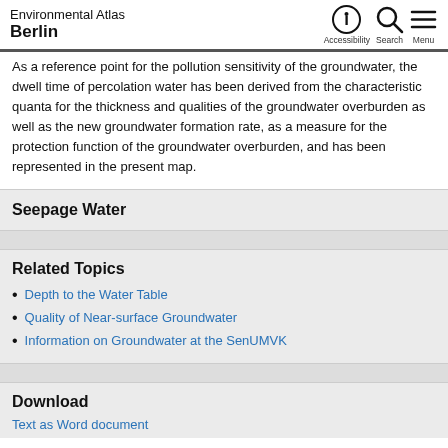Environmental Atlas Berlin
As a reference point for the pollution sensitivity of the groundwater, the dwell time of percolation water has been derived from the characteristic quanta for the thickness and qualities of the groundwater overburden as well as the new groundwater formation rate, as a measure for the protection function of the groundwater overburden, and has been represented in the present map.
Seepage Water
Related Topics
Depth to the Water Table
Quality of Near-surface Groundwater
Information on Groundwater at the SenUMVK
Download
Text as Word document